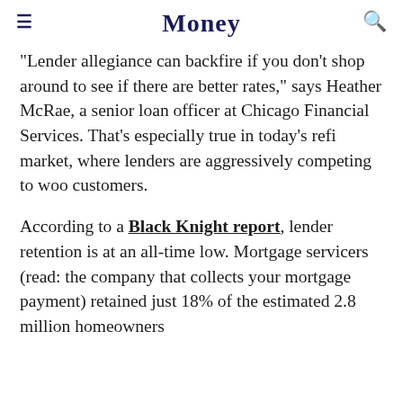Money
“Lender allegiance can backfire if you don’t shop around to see if there are better rates,” says Heather McRae, a senior loan officer at Chicago Financial Services. That’s especially true in today’s refi market, where lenders are aggressively competing to woo customers.
According to a Black Knight report, lender retention is at an all-time low. Mortgage servicers (read: the company that collects your mortgage payment) retained just 18% of the estimated 2.8 million homeowners